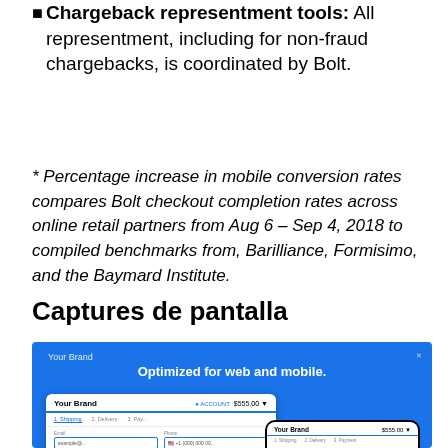Chargeback representment tools: All representment, including for non-fraud chargebacks, is coordinated by Bolt.
* Percentage increase in mobile conversion rates compares Bolt checkout completion rates across online retail partners from Aug 6 – Sep 4, 2018 to compiled benchmarks from, Barilliance, Formisimo, and the Baymard Institute.
Captures de pantalla
[Figure (screenshot): Screenshot showing Bolt checkout interface optimized for web and mobile. Blue background with text 'Optimized for web and mobile.' A desktop web checkout and a mobile checkout are displayed side by side, both showing 'Your Brand', $555.00 price, and checkout steps: Shipping, Delivery, Payment.]